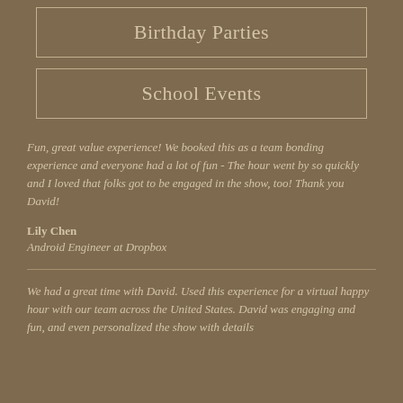Birthday Parties
School Events
Fun, great value experience! We booked this as a team bonding experience and everyone had a lot of fun - The hour went by so quickly and I loved that folks got to be engaged in the show, too! Thank you David!
Lily Chen
Android Engineer at Dropbox
We had a great time with David. Used this experience for a virtual happy hour with our team across the United States. David was engaging and fun, and even personalized the show with details